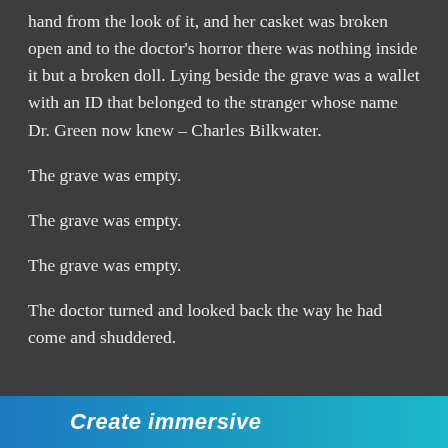hand from the look of it, and her casket was broken open and to the doctor’s horror there was nothing inside it but a broken doll. Lying beside the grave was a wallet with an ID that belonged to the stranger whose name Dr. Green now knew – Charles Bilkwater.
The grave was empty.
The grave was empty.
The grave was empty.
The doctor turned and looked back the way he had come and shuddered.
Advertisements
[Figure (other): Advertisement banner with blue gradient background and white italic text reading 'Create immersive']